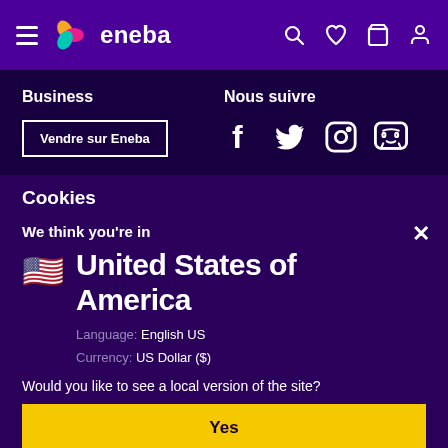eneba navigation bar with hamburger menu, logo, search, wishlist, cart, account icons
Business
Vendre sur Eneba
Nous suivre
Social icons: Facebook, Twitter, Instagram, Discord
Cookies
We think you're in
United States of America
Language: English US
Currency: US Dollar ($)
Would you like to see a local version of the site?
Yes